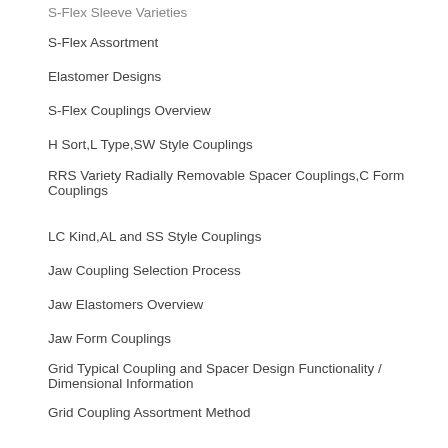S-Flex Sleeve Varieties
S-Flex Assortment
Elastomer Designs
S-Flex Couplings Overview
H Sort,L Type,SW Style Couplings
RRS Variety Radially Removable Spacer Couplings,C Form Couplings
LC Kind,AL and SS Style Couplings
Jaw Coupling Selection Process
Jaw Elastomers Overview
Jaw Form Couplings
Grid Typical Coupling and Spacer Design Functionality / Dimensional Information
Grid Coupling Assortment Method
Overview of Grid coupling
Coupling Grease